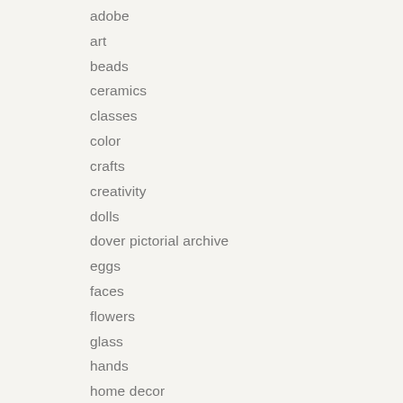adobe
art
beads
ceramics
classes
color
crafts
creativity
dolls
dover pictorial archive
eggs
faces
flowers
glass
hands
home decor
how-to
Illustrator
masks